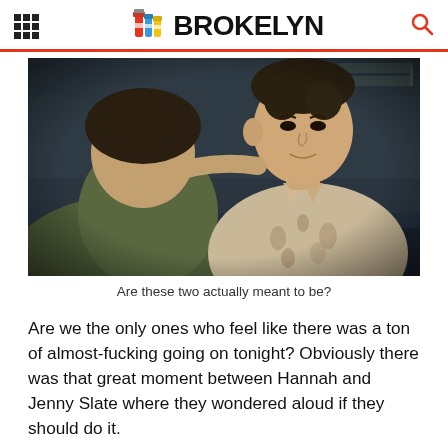BROKELYN
[Figure (photo): Two men sitting together in a dimly lit room, one facing away from camera in an olive shirt, the other facing the camera wearing a floral/Hawaiian shirt. They appear to be in an intimate conversation.]
Are these two actually meant to be?
Are we the only ones who feel like there was a ton of almost-fucking going on tonight? Obviously there was that great moment between Hannah and Jenny Slate where they wondered aloud if they should do it.